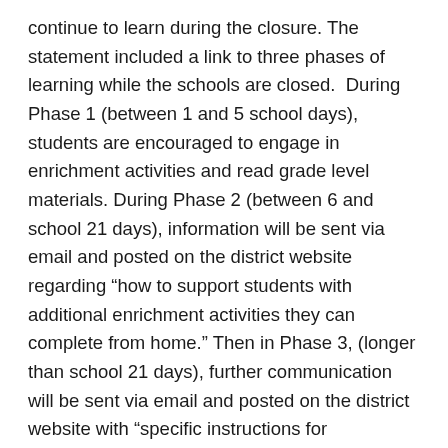continue to learn during the closure. The statement included a link to three phases of learning while the schools are closed.  During Phase 1 (between 1 and 5 school days), students are encouraged to engage in enrichment activities and read grade level materials. During Phase 2 (between 6 and school 21 days), information will be sent via email and posted on the district website regarding “how to support students with additional enrichment activities they can complete from home.” Then in Phase 3, (longer than school 21 days), further communication will be sent via email and posted on the district website with “specific instructions for completion of school curriculum from home.”
CNUSD did acknowledge that they are aware all students do not have regular access to technology or the internet. Therefore, hard copies of the materials will be provided, and more information will be released at a later date. Direct access to both electronic and paper resources options are currently available on cnusd.k12.ca.us.